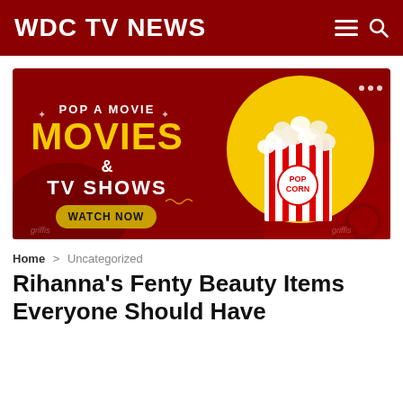WDC TV NEWS
[Figure (illustration): Movie streaming advertisement banner with dark red background, yellow text reading 'POP A MOVIE', large yellow 'MOVIES' text, '& TV SHOWS', a yellow circle with a popcorn box illustration, and a 'WATCH NOW' button.]
Home > Uncategorized
Rihanna's Fenty Beauty Items Everyone Should Have